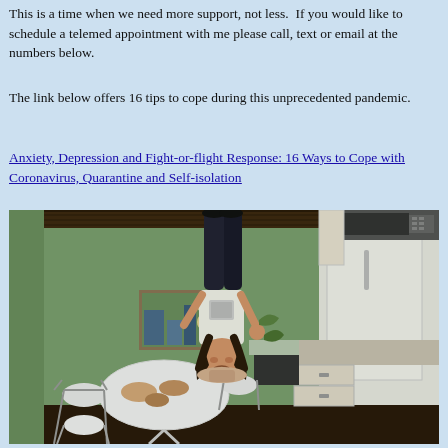This is a time when we need more support, not less.  If you would like to schedule a telemed appointment with me please call, text or email at the numbers below.
The link below offers 16 tips to cope during this unprecedented pandemic.
Anxiety, Depression and Fight-or-flight Response: 16 Ways to Cope with Coronavirus, Quarantine and Self-isolation
[Figure (photo): A surreal photograph showing a person appearing to hang upside down from the ceiling of a green kitchen, with a dining table and chairs in the foreground and white kitchen cabinets and a refrigerator in the background.]